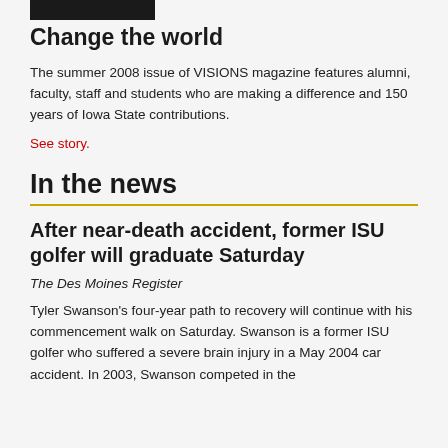[Figure (photo): Partial photo strip at the top of the page, showing a dark/shadowed image cropped at the top]
Change the world
The summer 2008 issue of VISIONS magazine features alumni, faculty, staff and students who are making a difference and 150 years of Iowa State contributions.
See story.
In the news
After near-death accident, former ISU golfer will graduate Saturday
The Des Moines Register
Tyler Swanson's four-year path to recovery will continue with his commencement walk on Saturday. Swanson is a former ISU golfer who suffered a severe brain injury in a May 2004 car accident. In 2003, Swanson competed in the